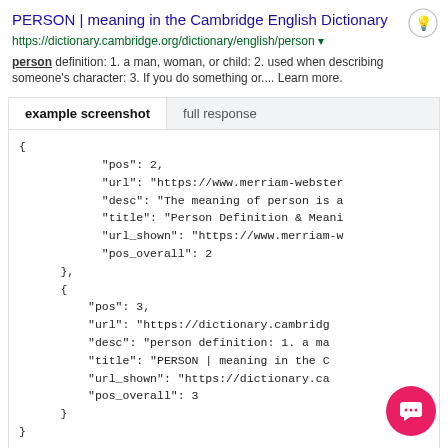PERSON | meaning in the Cambridge English Dictionary
https://dictionary.cambridge.org/dictionary/english/person ▾
person definition: 1. a man, woman, or child: 2. used when describing someone's character: 3. If you do something or.... Learn more.
[Figure (screenshot): Tab UI with 'example screenshot' (active) and 'full response' tabs, and a JSON code block showing search result objects with pos, url, desc, title, url_shown, pos_overall fields for positions 2 and 3.]